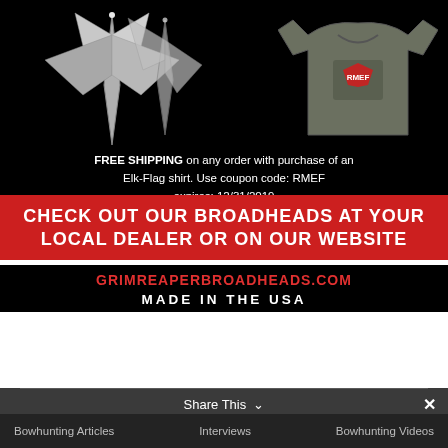[Figure (photo): Advertisement for Grim Reaper Broadheads showing metallic broadhead arrowheads on left and an Elk-Flag t-shirt on right against black background]
FREE SHIPPING on any order with purchase of an Elk-Flag shirt. Use coupon code: RMEF expires: 12/31/2019
CHECK OUT OUR BROADHEADS AT YOUR LOCAL DEALER OR ON OUR WEBSITE
GRIMREAPERBROADHEADS.COM
MADE IN THE USA
Share This ∨
Bowhunting Articles
Interviews
Bowhunting Videos